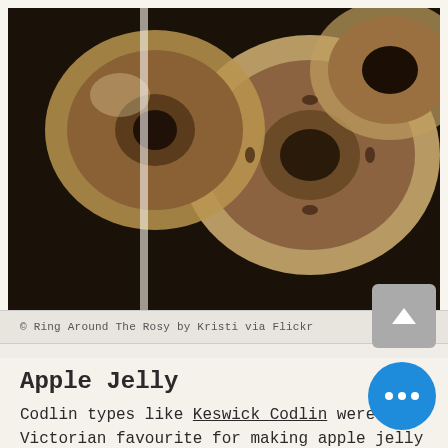[Figure (photo): Close-up photo of dried apple rings, showing circular slices with hollow centers, dark background, warm brown tones, reminiscent of a vintage or filtered photo.]
© Ring Around The Rosy by Kristi via Flickr
Apple Jelly
Codlin types like Keswick Codlin were the Victorian favourite for making apple jelly in late summer, as they have a sharp flavour and are rich in pectin. The jelly can be flavoured with herbs such as sage for serving with